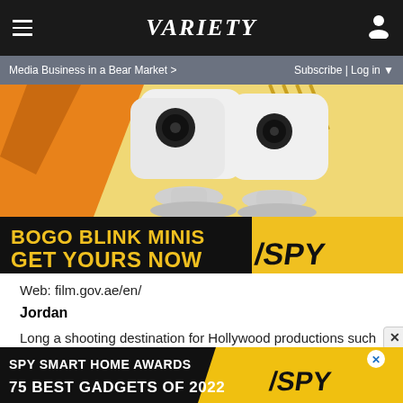Variety
Media Business in a Bear Market > | Subscribe | Log in
[Figure (photo): Advertisement for BOGO Blink Minis security cameras on yellow background with text GET YOURS NOW and SPY logo]
Web: film.gov.ae/en/
Jordan
Long a shooting destination for Hollywood productions such a
[Figure (photo): SPY Smart Home Awards 75 Best Gadgets of 2022 advertisement banner with yellow and black design and SPY logo]